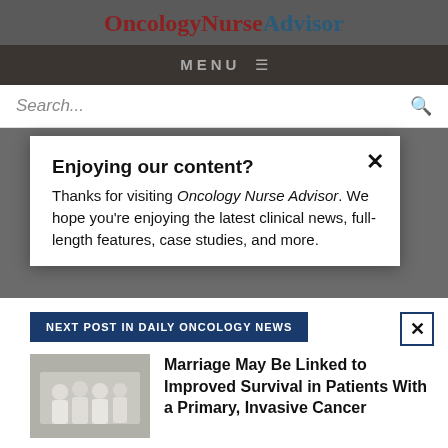OncologyNurseAdvisor
MENU
Search...
Enjoying our content? Thanks for visiting Oncology Nurse Advisor. We hope you're enjoying the latest clinical news, full-length features, case studies, and more.
NEXT POST IN DAILY ONCOLOGY NEWS
Marriage May Be Linked to Improved Survival in Patients With a Primary, Invasive Cancer
LOGIN
REGISTER